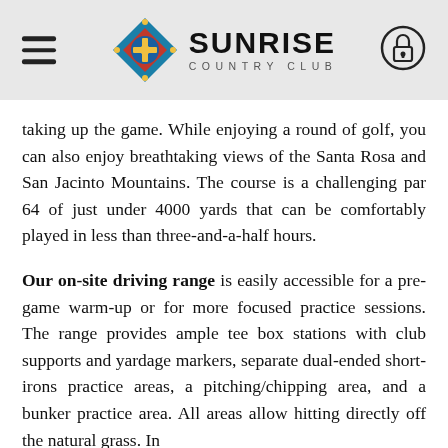Sunrise Country Club
taking up the game. While enjoying a round of golf, you can also enjoy breathtaking views of the Santa Rosa and San Jacinto Mountains. The course is a challenging par 64 of just under 4000 yards that can be comfortably played in less than three-and-a-half hours.
Our on-site driving range is easily accessible for a pre-game warm-up or for more focused practice sessions. The range provides ample tee box stations with club supports and yardage markers, separate dual-ended short-irons practice areas, a pitching/chipping area, and a bunker practice area. All areas allow hitting directly off the natural grass. In